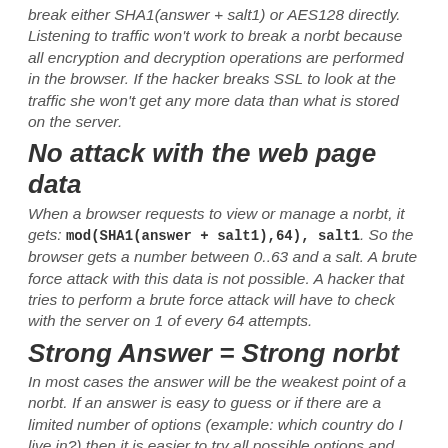break either SHA1(answer + salt1) or AES128 directly.
Listening to traffic won't work to break a norbt because all encryption and decryption operations are performed in the browser. If the hacker breaks SSL to look at the traffic she won't get any more data than what is stored on the server.
No attack with the web page data
When a browser requests to view or manage a norbt, it gets: mod(SHA1(answer + salt1),64), salt1. So the browser gets a number between 0..63 and a salt. A brute force attack with this data is not possible. A hacker that tries to perform a brute force attack will have to check with the server on 1 of every 64 attempts.
Strong Answer = Strong norbt
In most cases the answer will be the weakest point of a norbt. If an answer is easy to guess or if there are a limited number of options (example: which country do I live in?) then it is easier to try all possible options and come up with a correct